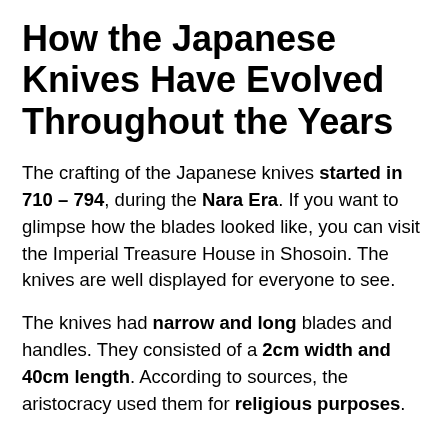How the Japanese Knives Have Evolved Throughout the Years
The crafting of the Japanese knives started in 710 – 794, during the Nara Era. If you want to glimpse how the blades looked like, you can visit the Imperial Treasure House in Shosoin. The knives are well displayed for everyone to see.
The knives had narrow and long blades and handles. They consisted of a 2cm width and 40cm length. According to sources, the aristocracy used them for religious purposes.